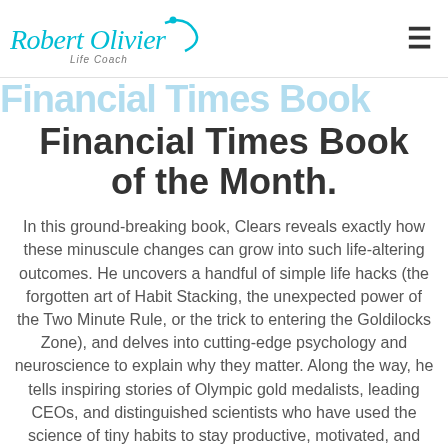Robert Olivier Life Coach
Financial Times Book of the Month.
In this ground-breaking book, Clears reveals exactly how these minuscule changes can grow into such life-altering outcomes. He uncovers a handful of simple life hacks (the forgotten art of Habit Stacking, the unexpected power of the Two Minute Rule, or the trick to entering the Goldilocks Zone), and delves into cutting-edge psychology and neuroscience to explain why they matter. Along the way, he tells inspiring stories of Olympic gold medalists, leading CEOs, and distinguished scientists who have used the science of tiny habits to stay productive, motivated, and happy.